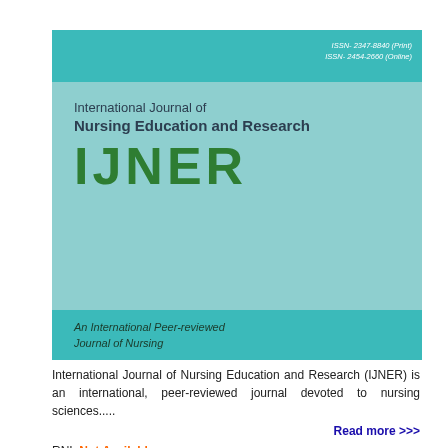[Figure (logo): Cover of International Journal of Nursing Education and Research (IJNER) with teal header/footer bars, ISSN numbers, journal name, IJNER acronym in green, and 'An International Peer-reviewed Journal of Nursing' text]
International Journal of Nursing Education and Research (IJNER) is an international, peer-reviewed journal devoted to nursing sciences.....
Read more >>>
RNI: Not Available